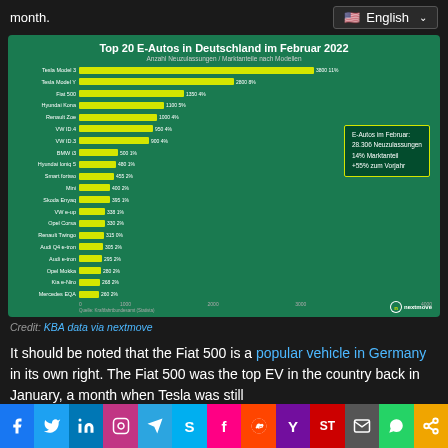month.
[Figure (bar-chart): Top 20 E-Autos in Deutschland im Februar 2022]
Credit: KBA data via nextmove
It should be noted that the Fiat 500 is a popular vehicle in Germany in its own right. The Fiat 500 was the top EV in the country back in January, a month when Tesla was still